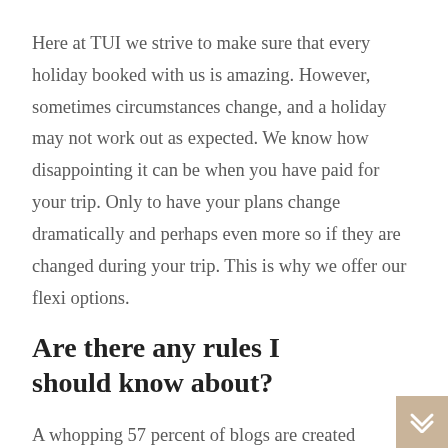Here at TUI we strive to make sure that every holiday booked with us is amazing. However, sometimes circumstances change, and a holiday may not work out as expected. We know how disappointing it can be when you have paid for your trip. Only to have your plans change dramatically and perhaps even more so if they are changed during your trip. This is why we offer our flexi options.
Are there any rules I should know about?
A whopping 57 percent of blogs are created on